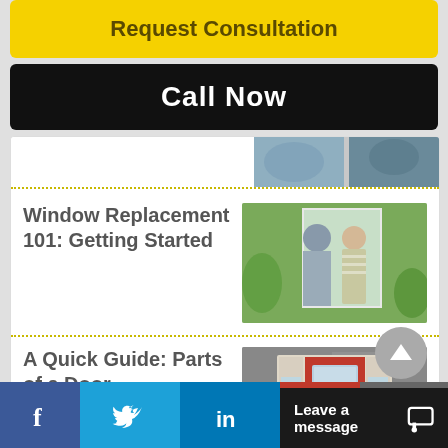Request Consultation
Call Now
[Figure (photo): Partial view of top article thumbnail]
Window Replacement 101: Getting Started
[Figure (photo): Two people (man and woman) looking out a window from behind]
A Quick Guide: Parts of a Door
[Figure (illustration): Illustration of a red front door with sidelights on gray background]
[Figure (other): Scroll-to-top circular button with upward arrow]
f  (Facebook)  Twitter  in (LinkedIn)  Leave a message  (chat icon)